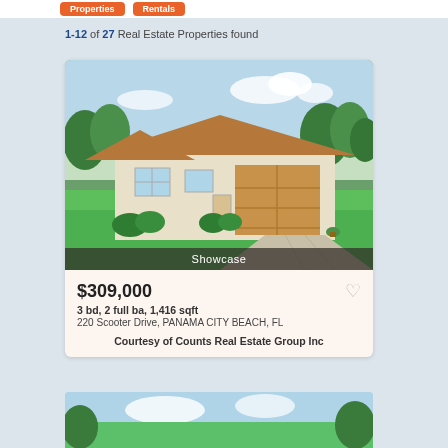1-12 of 27 Real Estate Properties found
[Figure (photo): Exterior photo of a single-story ranch-style house with brown roof, white walls, brown garage door, green lawn, and concrete driveway. Shows 'Showcase' label overlay at bottom.]
$309,000
3 bd, 2 full ba, 1,416 sqft
220 Scooter Drive, PANAMA CITY BEACH, FL
Courtesy of Counts Real Estate Group Inc
[Figure (photo): Partial photo of a second property showing sky and treetops at the bottom of the page.]